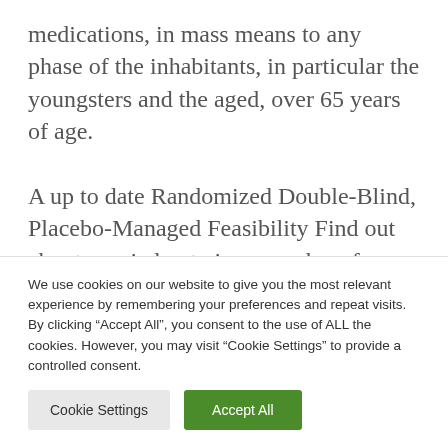medications, in mass means to any phase of the inhabitants, in particular the youngsters and the aged, over 65 years of age.
A up to date Randomized Double-Blind, Placebo-Managed Feasibility Find out about, carried out via researchers from Mumbai and USA, printed within the magazine Homeopathy in September 2021, Comparing the Efficacy of Homeopathic Medication
We use cookies on our website to give you the most relevant experience by remembering your preferences and repeat visits. By clicking “Accept All”, you consent to the use of ALL the cookies. However, you may visit “Cookie Settings” to provide a controlled consent.